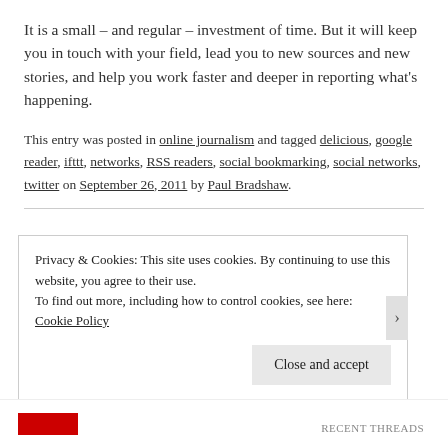It is a small – and regular – investment of time. But it will keep you in touch with your field, lead you to new sources and new stories, and help you work faster and deeper in reporting what's happening.
This entry was posted in online journalism and tagged delicious, google reader, ifttt, networks, RSS readers, social bookmarking, social networks, twitter on September 26, 2011 by Paul Bradshaw.
Privacy & Cookies: This site uses cookies. By continuing to use this website, you agree to their use.
To find out more, including how to control cookies, see here: Cookie Policy